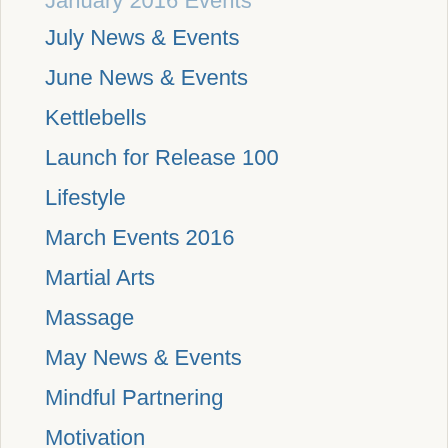July News & Events
June News & Events
Kettlebells
Launch for Release 100
Lifestyle
March Events 2016
Martial Arts
Massage
May News & Events
Mindful Partnering
Motivation
November News & Events
Nutrition Video Blog Post
October News & Events
Outdoor Activities
Outreach